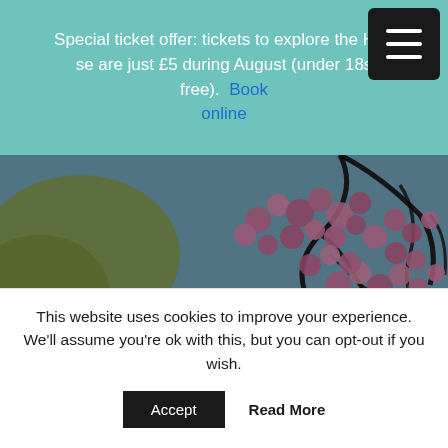Special ticket offer: tickets to explore the House are just £5 during August (under 18s free). Book online
[Figure (photo): Delapré Abbey hero image showing pink cherry blossom branches against a blue sky with a stone building visible below, overlaid with a dark tint. The Delapré Abbey logo (yellow pennant shape with a geometric diamond outline) and name are overlaid on the left.]
This website uses cookies to improve your experience. We'll assume you're ok with this, but you can opt-out if you wish.
Accept   Read More